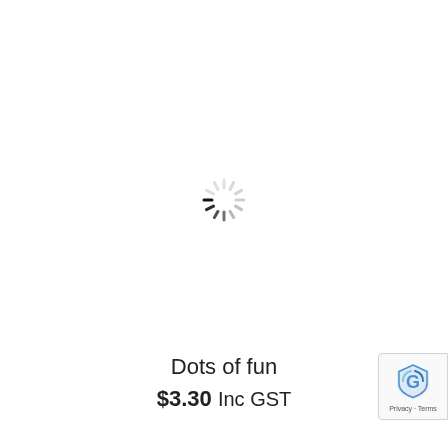[Figure (other): Animated loading spinner (circular dashed spinner icon) centered on a white background]
Dots of fun
$3.30 Inc GST
[Figure (logo): Google reCAPTCHA badge with shield/G logo and Privacy - Terms text, partially visible at bottom right]